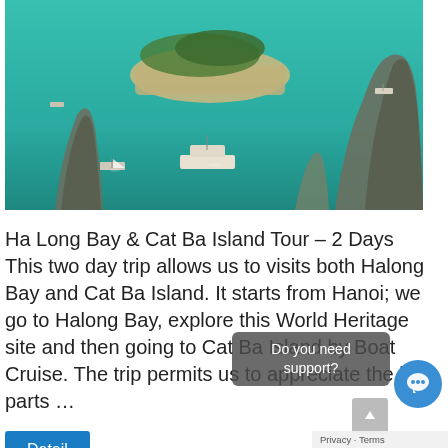[Figure (photo): Aerial view of Ha Long Bay with turquoise water, karst limestone rocky islands, and boats floating in the bay.]
Ha Long Bay & Cat Ba Island Tour – 2 Days   This two day trip allows us to visits both Halong Bay and Cat Ba Island. It starts from Hanoi; we go to Halong Bay, explore this World Heritage site and then going to Cat Ba Island by Boat Cruise. The trip permits us to appreciate the best parts …
Detail
HALONG BAY TRIP BY EMPEROR CRU…
08/07/2019
[Figure (photo): Video thumbnail — black rectangle, partially visible at bottom of page.]